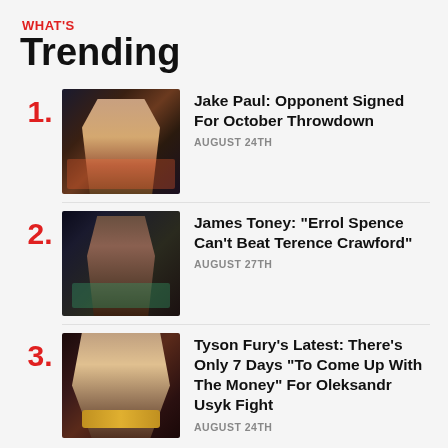WHAT'S Trending
1. Jake Paul: Opponent Signed For October Throwdown — AUGUST 24TH
2. James Toney: "Errol Spence Can't Beat Terence Crawford" — AUGUST 27TH
3. Tyson Fury's Latest: There's Only 7 Days "To Come Up With The Money" For Oleksandr Usyk Fight — AUGUST 24TH